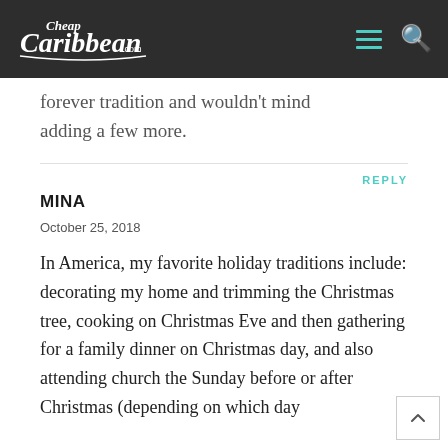Cheap Caribbean .com
forever tradition and wouldn't mind adding a few more.
REPLY
MINA
October 25, 2018
In America, my favorite holiday traditions include: decorating my home and trimming the Christmas tree, cooking on Christmas Eve and then gathering for a family dinner on Christmas day, and also attending church the Sunday before or after Christmas (depending on which day